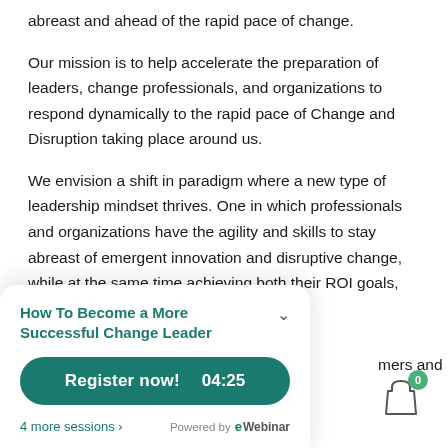abreast and ahead of the rapid pace of change.
Our mission is to help accelerate the preparation of leaders, change professionals, and organizations to respond dynamically to the rapid pace of Change and Disruption taking place around us.
We envision a shift in paradigm where a new type of leadership mindset thrives. One in which professionals and organizations have the agility and skills to stay abreast of emergent innovation and disruptive change, while at the same time achieving both their ROI goals, and
mers and
[Figure (screenshot): Webinar popup widget showing 'How To Become a More Successful Change Leader' with a teal Register now! button showing time 04:25, 4 more sessions link, and Powered by eWebinar branding]
[Figure (illustration): Shopping bag icon with green badge showing 0]